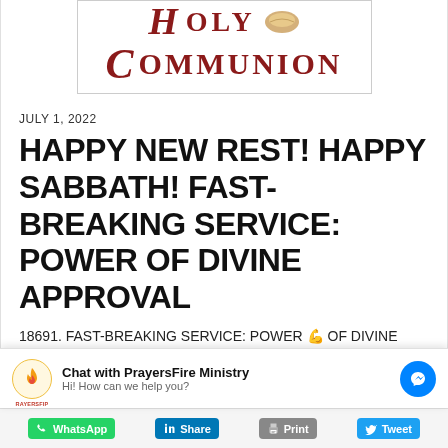[Figure (logo): Holy Communion banner with decorative text and bread image in dark red/maroon color]
JULY 1, 2022
HAPPY NEW REST! HAPPY SABBATH! FAST-BREAKING SERVICE: POWER OF DIVINE APPROVAL
18691. FAST-BREAKING SERVICE: POWER 💪 OF DIVINE APPROVAL WE ARE ABOUT TO GO TO THE TABLE OF DIVINE APPROVAL TO
[Figure (screenshot): Chat widget: Chat with PrayersFire Ministry. Hi! How can we help you? With Messenger button.]
[Figure (screenshot): Share bar with WhatsApp, Share (LinkedIn), Print, and Tweet buttons]